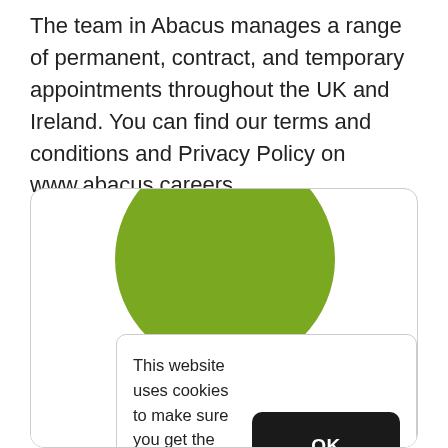The team in Abacus manages a range of permanent, contract, and temporary appointments throughout the UK and Ireland. You can find our terms and conditions and Privacy Policy on www.abacus.careers
[Figure (screenshot): A website card with a green circle logo partially visible at top, and a cookie consent banner overlay containing text 'This website uses cookies to make sure you get the best experience.' with an OK button and a Cookie Policy link. Below is a partially visible email bar showing colm@abacus.careers]